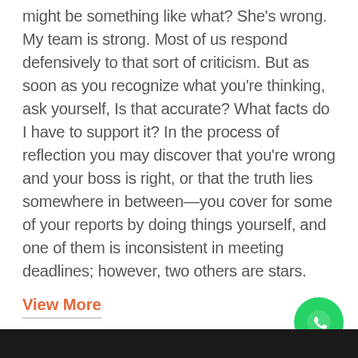might be something like what? She's wrong. My team is strong. Most of us respond defensively to that sort of criticism. But as soon as you recognize what you're thinking, ask yourself, Is that accurate? What facts do I have to support it? In the process of reflection you may discover that you're wrong and your boss is right, or that the truth lies somewhere in between—you cover for some of your reports by doing things yourself, and one of them is inconsistent in meeting deadlines; however, two others are stars.
View More
[Figure (logo): WhatsApp logo button — green circle with white phone handset icon]